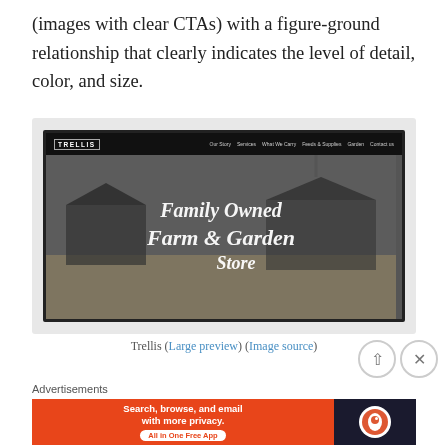(images with clear CTAs) with a figure-ground relationship that clearly indicates the level of detail, color, and size.
[Figure (screenshot): Screenshot of Trellis website showing 'Family Owned Farm & Garden Store' hero image in black and white with navigation bar]
Trellis (Large preview) (Image source)
Advertisements
[Figure (other): DuckDuckGo advertisement banner: Search, browse, and email with more privacy. All in One Free App]